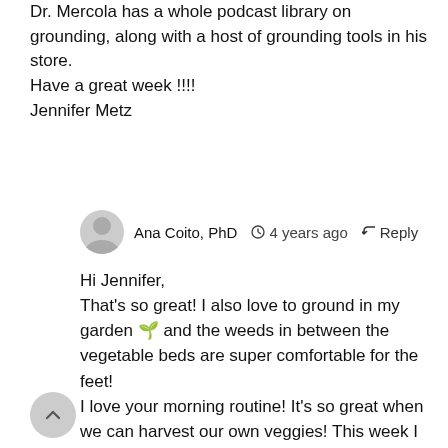Dr. Mercola has a whole podcast library on grounding, along with a host of grounding tools in his store.
Have a great week !!!!
Jennifer Metz
Ana Coito, PhD  4 years ago  Reply
Hi Jennifer,
That's so great! I also love to ground in my garden 🌿 and the weeds in between the vegetable beds are super comfortable for the feet!
I love your morning routine! It's so great when we can harvest our own veggies! This week I will be posting a green smoothie